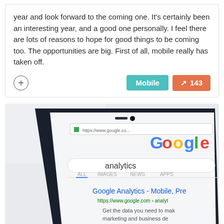year and look forward to the coming one. It's certainly been an interesting year, and a good one personally. I feel there are lots of reasons to hope for good things to be coming too. The opportunities are big. First of all, mobile really has taken off.
[Figure (screenshot): Photo of a smartphone displaying Google Analytics search results on Google.com, showing search tabs (ALL, IMAGES, NEWS, APPS) and a result for Google Analytics - Mobile, with partial URL and description text visible.]